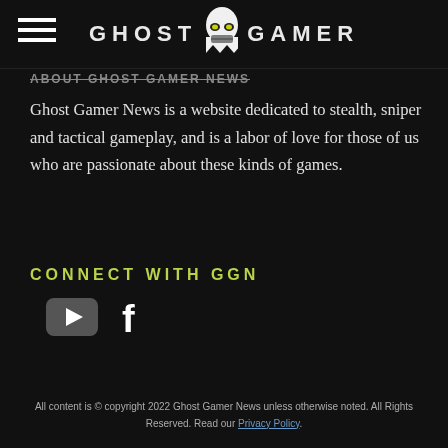GHOST GAMER
ABOUT GHOST GAMER NEWS
Ghost Gamer News is a website dedicated to stealth, sniper and tactical gameplay, and is a labor of love for those of us who are passionate about these kinds of games.
CONNECT WITH GGN
[Figure (logo): YouTube icon button (rounded rectangle with play triangle)]
[Figure (logo): Facebook icon (lowercase f)]
All content is © copyright 2022 Ghost Gamer News unless otherwise noted. All Rights Reserved. Read our Privacy Policy.